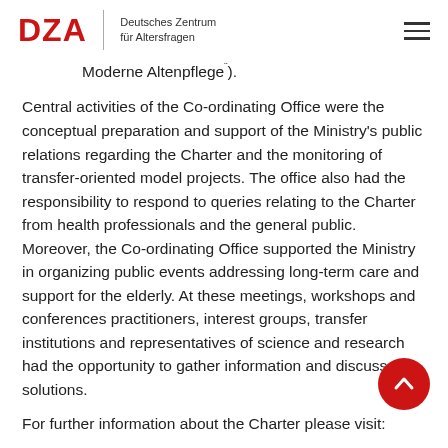DZA | Deutsches Zentrum für Altersfragen
Moderne Altenpflege¯¯).
Central activities of the Co-ordinating Office were the conceptual preparation and support of the Ministry’s public relations regarding the Charter and the monitoring of transfer-oriented model projects. The office also had the responsibility to respond to queries relating to the Charter from health professionals and the general public. Moreover, the Co-ordinating Office supported the Ministry in organizing public events addressing long-term care and support for the elderly. At these meetings, workshops and conferences practitioners, interest groups, transfer institutions and representatives of science and research had the opportunity to gather information and discuss new solutions.
For further information about the Charter please visit: